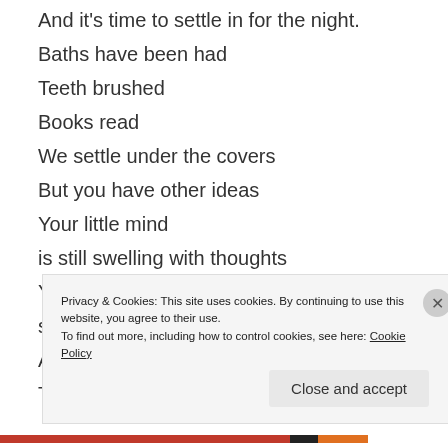And it's time to settle in for the night.
Baths have been had
Teeth brushed
Books read
We settle under the covers
But you have other ideas
Your little mind
is still swelling with thoughts
Your small body
still vibrating with energy
And so begins
The battle for bedtime.
Privacy & Cookies: This site uses cookies. By continuing to use this website, you agree to their use. To find out more, including how to control cookies, see here: Cookie Policy
Close and accept